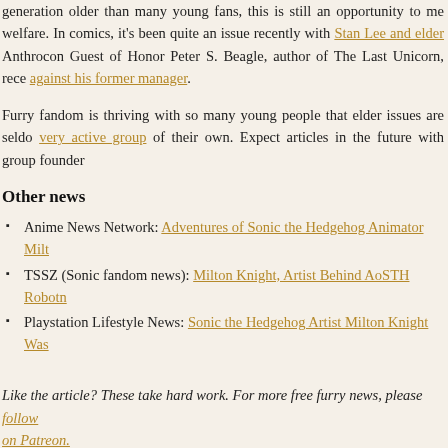generation older than many young fans, this is still an opportunity to me welfare. In comics, it's been quite an issue recently with Stan Lee and elder Anthrocon Guest of Honor Peter S. Beagle, author of The Last Unicorn, rece against his former manager.
Furry fandom is thriving with so many young people that elder issues are seldo very active group of their own. Expect articles in the future with group founder
Other news
Anime News Network: Adventures of Sonic the Hedgehog Animator Milt
TSSZ (Sonic fandom news): Milton Knight, Artist Behind AoSTH Robotn
Playstation Lifestyle News: Sonic the Hedgehog Artist Milton Knight Was
Like the article? These take hard work. For more free furry news, please follow on Patreon.
Share this: